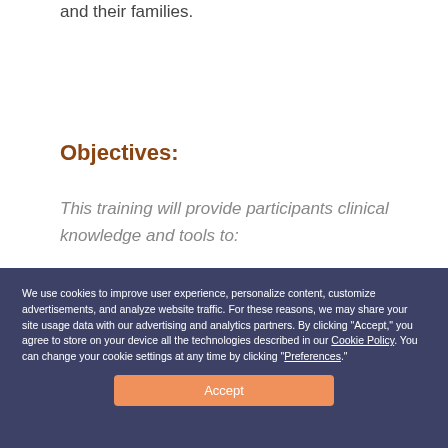and family level for impacted individuals and their families.
Objectives:
This training will provide participants clinical knowledge and tools to:
a). Examine common factors over Prenatal _______ Intellectual disability
b). Develop a working knowledge of the behavioral, emotional, social, and physical
We use cookies to improve user experience, personalize content, customize advertisements, and analyze website traffic. For these reasons, we may share your site usage data with our advertising and analytics partners. By clicking "Accept," you agree to store on your device all the technologies described in our Cookie Policy. You can change your cookie settings at any time by clicking "Preferences."